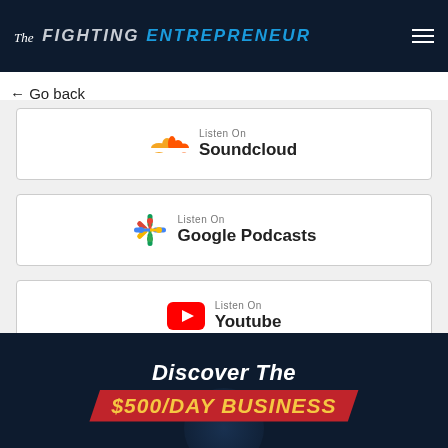The Fighting Entrepreneur
← Go back
[Figure (logo): Listen On Soundcloud button with SoundCloud cloud icon]
[Figure (logo): Listen On Google Podcasts button with Google Podcasts icon]
[Figure (logo): Listen On Youtube button with YouTube play button icon]
[Figure (illustration): Promotional banner: Discover The $500/DAY BUSINESS on dark navy background with a red ribbon shape]